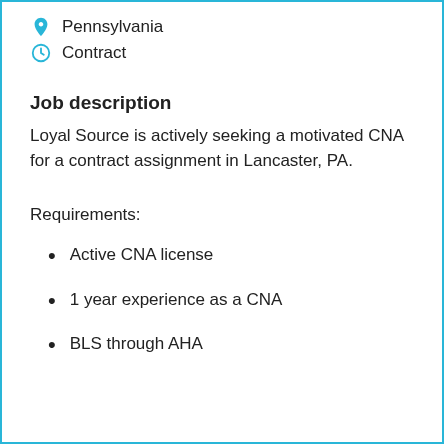Pennsylvania
Contract
Job description
Loyal Source is actively seeking a motivated CNA for a contract assignment in Lancaster, PA.
Requirements:
Active CNA license
1 year experience as a CNA
BLS through AHA